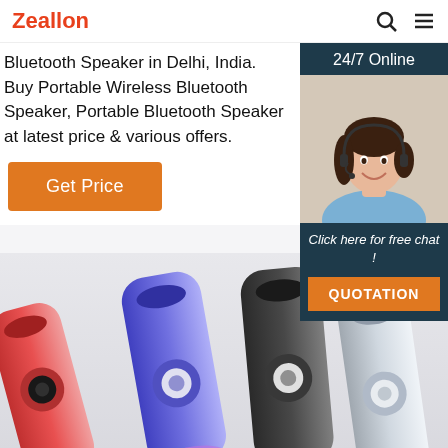Zeallon
Bluetooth Speaker in Delhi, India. Buy Portable Wireless Bluetooth Speaker, Portable Bluetooth Speaker at latest price & various offers.
Get Price
[Figure (photo): Customer service representative smiling with headset, with '24/7 Online' header and 'Click here for free chat! QUOTATION' footer, on dark navy background sidebar widget]
[Figure (photo): Four colorful portable Bluetooth speakers (red, blue, dark/black, white) lined up on a light grey background]